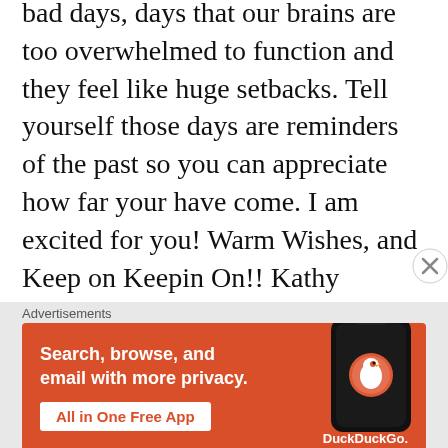bad days, days that our brains are too overwhelmed to function and they feel like huge setbacks. Tell yourself those days are reminders of the past so you can appreciate how far your have come. I am excited for you! Warm Wishes, and Keep on Keepin On!! Kathy
★ Like
REPLY
[Figure (other): DuckDuckGo advertisement banner with orange background. Text reads 'Search, browse, and email with more privacy. All in One Free App' with a phone graphic and DuckDuckGo logo.]